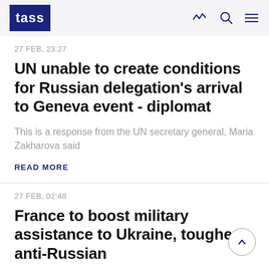TASS
27 FEB, 23:27
UN unable to create conditions for Russian delegation's arrival to Geneva event - diplomat
This is a response from the UN secretary general, Maria Zakharova said
READ MORE
27 FEB, 02:48
France to boost military assistance to Ukraine, toughen anti-Russian